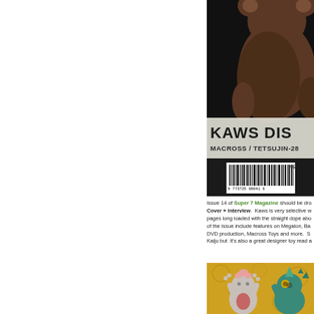[Figure (photo): Magazine cover showing KAWS figure (brown bear-like toy) from behind, with text 'KAWS DIS...' and 'MACROSS / TETSUJIN-28' visible, plus barcode at bottom]
Issue 14 of Super 7 Magazine should be dropping soon. KAWS Cover + interview. Kaws is very selective with press, so a pages long loaded with the straight dope about... of the issue include features on Megalon, Ba... DVD production, Macross Toys and more. S... Kaiju but it's also a great designer toy read a...
[Figure (photo): Photo of monster/kaiju toy figures on a golden yellow decorative background — two figures visible, one pinkish-gray and one teal/green]